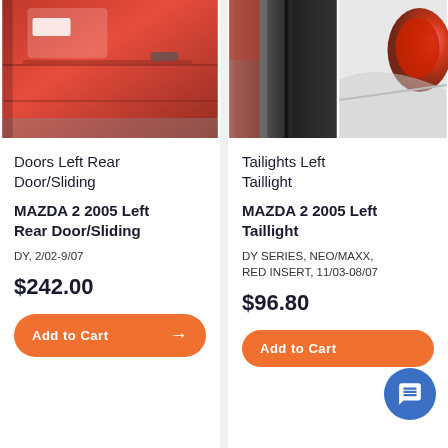[Figure (photo): Red car left rear door/sliding door photo]
Doors Left Rear Door/Sliding
MAZDA 2 2005 Left Rear Door/Sliding
DY, 2/02-9/07
$242.00
Add to Cart
[Figure (photo): Two images: left shows black car door frame, right shows white car taillight]
Tailights Left Taillight
MAZDA 2 2005 Left Taillight
DY SERIES, NEO/MAXX, RED INSERT, 11/03-08/07
$96.80
Add to Cart